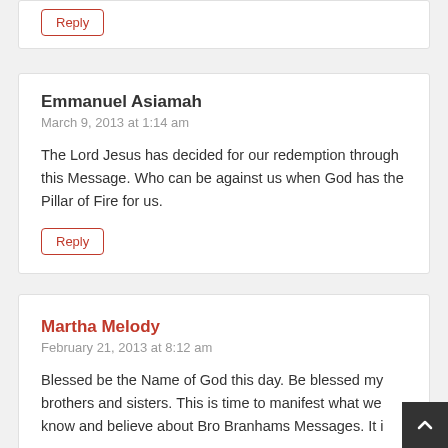Reply (button)
Emmanuel Asiamah
March 9, 2013 at 1:14 am

The Lord Jesus has decided for our redemption through this Message. Who can be against us when God has the Pillar of Fire for us.

Reply
Martha Melody
February 21, 2013 at 8:12 am

Blessed be the Name of God this day. Be blessed my brothers and sisters. This is time to manifest what we know and believe about Bro Branhams Messages. It i